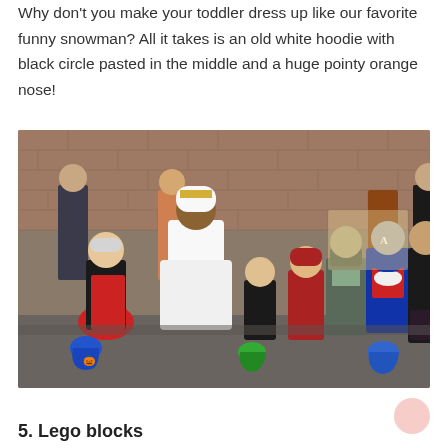Why don't you make your toddler dress up like our favorite funny snowman? All it takes is an old white hoodie with black circle pasted in the middle and a huge pointy orange nose!
[Figure (photo): Group of children in Halloween costumes including a princess, Captain America, a hooded figure, and others, posing outdoors in front of a brick building holding trick-or-treat buckets.]
5. Lego blocks